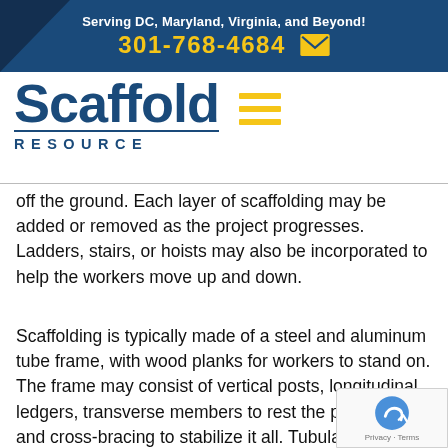Serving DC, Maryland, Virginia, and Beyond! 301-768-4684
[Figure (logo): Scaffold Resource company logo with blue text and yellow hamburger menu icon]
off the ground. Each layer of scaffolding may be added or removed as the project progresses. Ladders, stairs, or hoists may also be incorporated to help the workers move up and down.
Scaffolding is typically made of a steel and aluminum tube frame, with wood planks for workers to stand on. The frame may consist of vertical posts, longitudinal ledgers, transverse members to rest the planks on, and cross-bracing to stabilize it all. Tubular scaffolding is stronger, more durable, and more fire resistant than timber frames that were once commonplace.